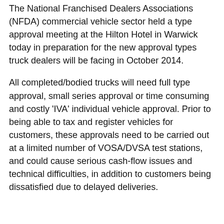The National Franchised Dealers Associations (NFDA) commercial vehicle sector held a type approval meeting at the Hilton Hotel in Warwick today in preparation for the new approval types truck dealers will be facing in October 2014.
All completed/bodied trucks will need full type approval, small series approval or time consuming and costly 'IVA' individual vehicle approval. Prior to being able to tax and register vehicles for customers, these approvals need to be carried out at a limited number of VOSA/DVSA test stations, and could cause serious cash-flow issues and technical difficulties, in addition to customers being dissatisfied due to delayed deliveries.